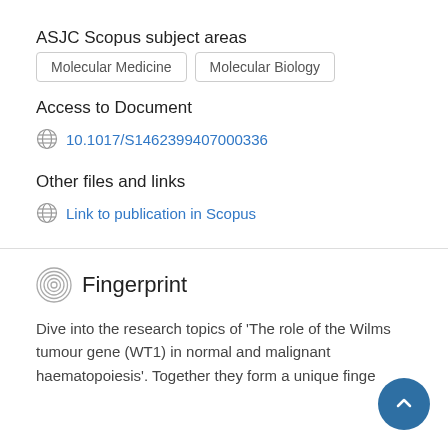ASJC Scopus subject areas
Molecular Medicine
Molecular Biology
Access to Document
10.1017/S1462399407000336
Other files and links
Link to publication in Scopus
Fingerprint
Dive into the research topics of 'The role of the Wilms tumour gene (WT1) in normal and malignant haematopoiesis'. Together they form a unique finge